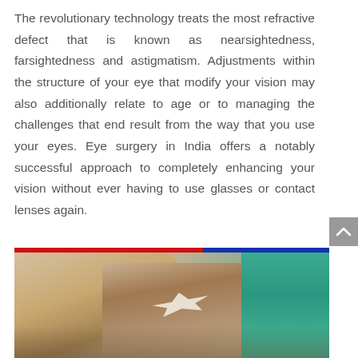The revolutionary technology treats the most refractive defect that is known as nearsightedness, farsightedness and astigmatism. Adjustments within the structure of your eye that modify your vision may also additionally relate to age or to managing the challenges that end result from the way that you use your eyes. Eye surgery in India offers a notably successful approach to completely enhancing your vision without ever having to use glasses or contact lenses again.
[Figure (photo): A patient lying down with a bandage/patch over their eye, being attended by a medical professional in teal scrubs. Another person in white coat is visible. A red and blue striped bar appears at the top of the image.]